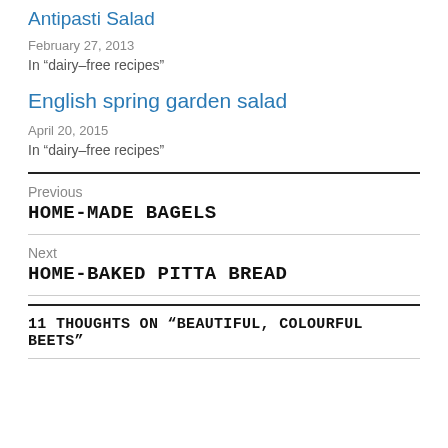Antipasti Salad
February 27, 2013
In “dairy-free recipes”
English spring garden salad
April 20, 2015
In “dairy-free recipes”
Previous
HOME-MADE BAGELS
Next
HOME-BAKED PITTA BREAD
11 THOUGHTS ON “BEAUTIFUL, COLOURFUL BEETS”